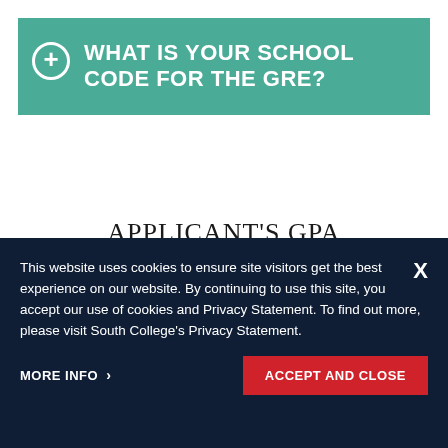WHAT IS YOUR SCHOOL CODE FOR THE GRE?
APPLICANT'S GPA
This website uses cookies to ensure site visitors get the best experience on our website. By continuing to use this site, you accept our use of cookies and Privacy Statement. To find out more, please visit South College's Privacy Statement.
MORE INFO >
ACCEPT AND CLOSE